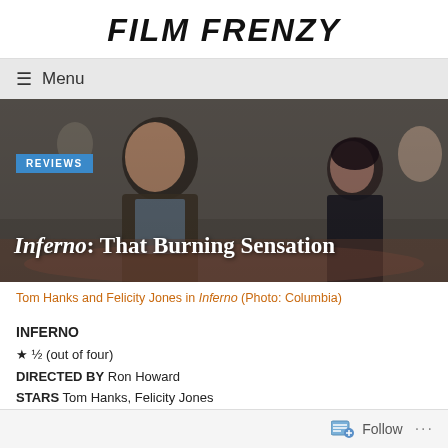FILM FRENZY
≡ Menu
[Figure (photo): Movie still from Inferno showing Tom Hanks and Felicity Jones looking upward in a dramatic scene]
Tom Hanks and Felicity Jones in Inferno (Photo: Columbia)
INFERNO
★ ½ (out of four)
DIRECTED BY Ron Howard
STARS Tom Hanks, Felicity Jones
Follow